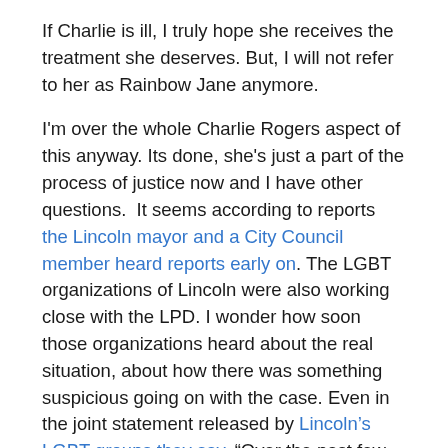If Charlie is ill, I truly hope she receives the treatment she deserves. But, I will not refer to her as Rainbow Jane anymore.
I'm over the whole Charlie Rogers aspect of this anyway. Its done, she's just a part of the process of justice now and I have other questions. It seems according to reports the Lincoln mayor and a City Council member heard reports early on. The LGBT organizations of Lincoln were also working close with the LPD. I wonder how soon those organizations heard about the real situation, about how there was something suspicious going on with the case. Even in the joint statement released by Lincoln's LGBT groups they say, “Over the past few weeks, law enforcement has been very forthcoming in providing information to leaders of Lincoln’s gay and transgender community.”. This, with all those fundraisers going on and